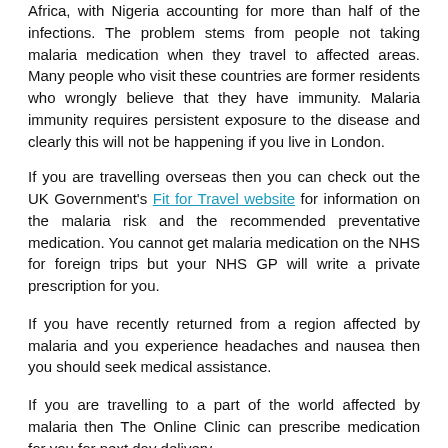Africa, with Nigeria accounting for more than half of the infections. The problem stems from people not taking malaria medication when they travel to affected areas. Many people who visit these countries are former residents who wrongly believe that they have immunity. Malaria immunity requires persistent exposure to the disease and clearly this will not be happening if you live in London.
If you are travelling overseas then you can check out the UK Government's Fit for Travel website for information on the malaria risk and the recommended preventative medication. You cannot get malaria medication on the NHS for foreign trips but your NHS GP will write a private prescription for you.
If you have recently returned from a region affected by malaria and you experience headaches and nausea then you should seek medical assistance.
If you are travelling to a part of the world affected by malaria then The Online Clinic can prescribe medication for you for next day delivery.
Free Online Assessment
[Figure (other): Start Now button with orange background and arrow icon]